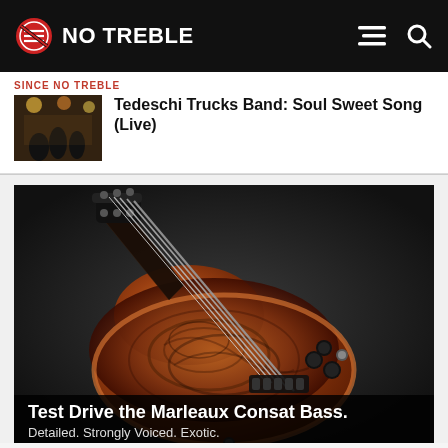NO TREBLE
SINCE NO TREBLE
Tedeschi Trucks Band: Soul Sweet Song (Live)
[Figure (photo): Thumbnail photo of Tedeschi Trucks Band performing live on stage]
[Figure (photo): Close-up photo of a Marleaux Consat Bass guitar with exotic wood body and multiple strings, on a dark background]
Test Drive the Marleaux Consat Bass.
Detailed. Strongly Voiced. Exotic.